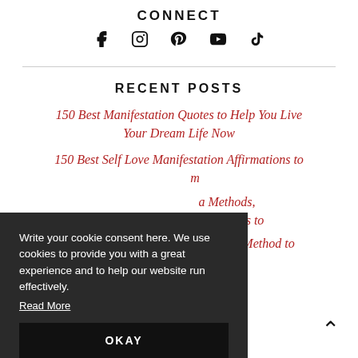CONNECT
[Figure (infographic): Social media icons: Facebook, Instagram, Pinterest, YouTube, TikTok]
RECENT POSTS
150 Best Manifestation Quotes to Help You Live Your Dream Life Now
150 Best Self Love Manifestation Affirmations to Transform
... Methods, ... Dreams to
How to Use the 369 Manifestation Method to
Write your cookie consent here. We use cookies to provide you with a great experience and to help our website run effectively. Read More
OKAY